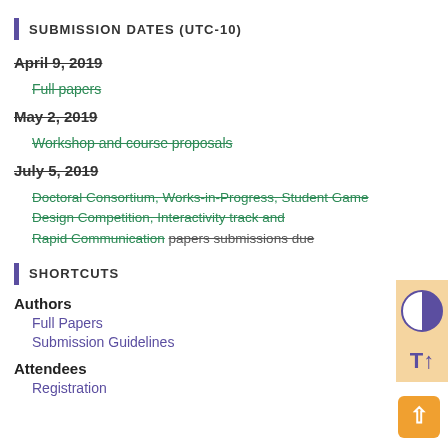SUBMISSION DATES (UTC-10)
April 9, 2019
Full papers
May 2, 2019
Workshop and course proposals
July 5, 2019
Doctoral Consortium, Works-in-Progress, Student Game Design Competition, Interactivity track and Rapid Communication papers submissions due
SHORTCUTS
Authors
Full Papers
Submission Guidelines
Attendees
Registration